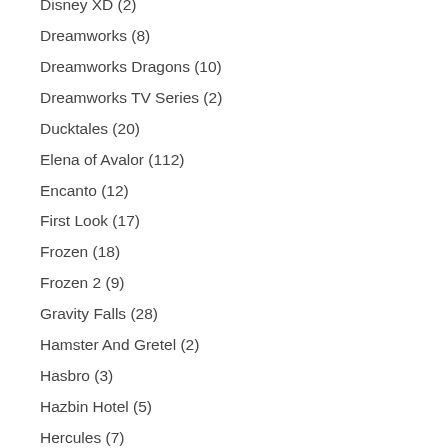Disney XD (2)
Dreamworks (8)
Dreamworks Dragons (10)
Dreamworks TV Series (2)
Ducktales (20)
Elena of Avalor (112)
Encanto (12)
First Look (17)
Frozen (18)
Frozen 2 (9)
Gravity Falls (28)
Hamster And Gretel (2)
Hasbro (3)
Hazbin Hotel (5)
Hercules (7)